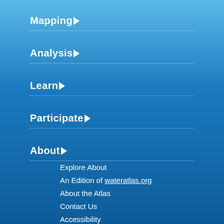Mapping ▶
Analysis ▶
Learn ▶
Participate ▶
About ▶
Explore About
An Edition of wateratlas.org
About the Atlas
Contact Us
Accessibility
Disclaimer
Privacy
Connect With Us